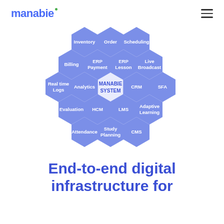manabie
[Figure (infographic): Honeycomb diagram showing MANABIE SYSTEM at center surrounded by hexagonal modules: Inventory, Order, Scheduling, Billing, ERP Payment, ERP Lesson, Live Broadcast, Real time Logs, Analytics, CRM, SFA, Evaluation, HCM, LMS, Adaptive Learning, Attendance, Study Planning, CMS]
End-to-end digital infrastructure for